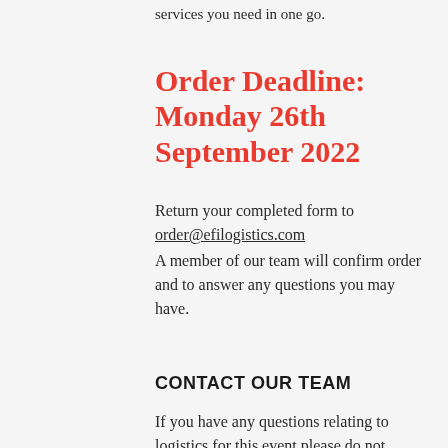services you need in one go.
Order Deadline: Monday 26th September 2022
Return your completed form to order@efilogistics.com A member of our team will confirm order and to answer any questions you may have.
CONTACT OUR TEAM
If you have any questions relating to logistics for this event please do not hesitate to contact our team. We will be happy to assist you: